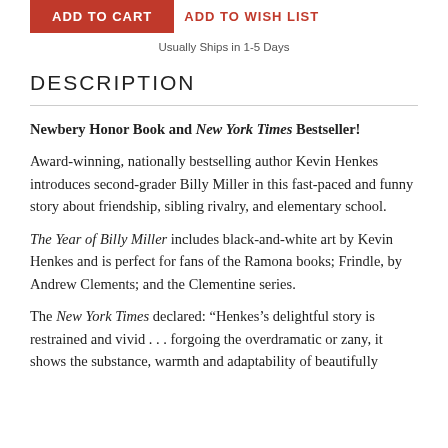[Figure (other): Red ADD TO CART button and red ADD TO WISH LIST text button]
Usually Ships in 1-5 Days
DESCRIPTION
Newbery Honor Book and New York Times Bestseller!

Award-winning, nationally bestselling author Kevin Henkes introduces second-grader Billy Miller in this fast-paced and funny story about friendship, sibling rivalry, and elementary school.

The Year of Billy Miller includes black-and-white art by Kevin Henkes and is perfect for fans of the Ramona books; Frindle, by Andrew Clements; and the Clementine series.

The New York Times declared: “Henkes’s delightful story is restrained and vivid . . . forgoing the overdramatic or zany, it shows the substance, warmth and adaptability of beautifully